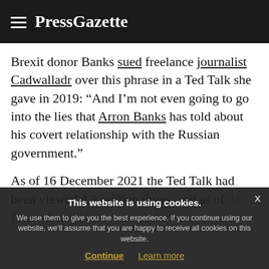PressGazette
Brexit donor Banks sued freelance journalist Cadwalladr over this phrase in a Ted Talk she gave in 2019: “And I’m not even going to go into the lies that Arron Banks has told about his covert relationship with the Russian government.”
As of 16 December 2021 the Ted Talk had been viewed 4.3 million times, and as of 31 December it had been watched on
This website is using cookies. We use them to give you the best experience. If you continue using our website, we’ll assume that you are happy to receive all cookies on this website. Continue  Learn more